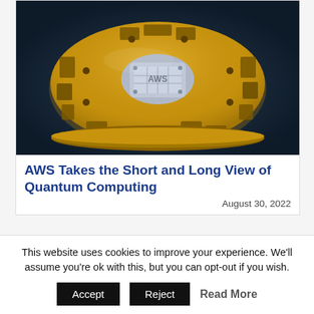[Figure (photo): A gold-colored circular quantum computing hardware component with a silver chip in the center, set against a dark background. The component appears to be a superconducting quantum chip package with machined gold cavities and mounting holes.]
AWS Takes the Short and Long View of Quantum Computing
August 30, 2022
This website uses cookies to improve your experience. We'll assume you're ok with this, but you can opt-out if you wish.
Accept   Reject   Read More